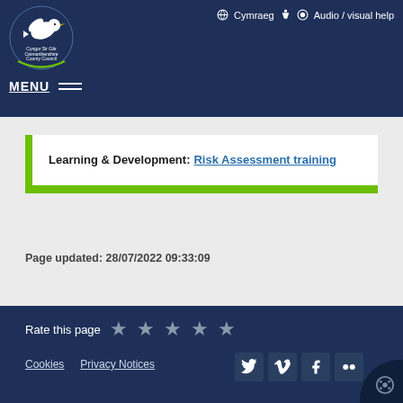[Figure (logo): Carmarthenshire County Council / Cyngor Sir Gâr logo with dove]
🌐 Cymraeg 🔊 👁 Audio / visual help
MENU
Learning & Development: Risk Assessment training
Page updated: 28/07/2022 09:33:09
Rate this page ★ ★ ★ ★ ★
Cookies   Privacy Notices